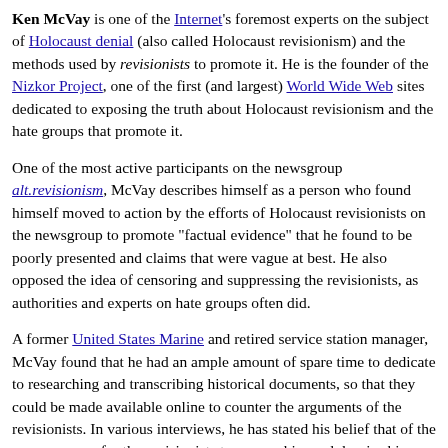Ken McVay is one of the Internet's foremost experts on the subject of Holocaust denial (also called Holocaust revisionism) and the methods used by revisionists to promote it. He is the founder of the Nizkor Project, one of the first (and largest) World Wide Web sites dedicated to exposing the truth about Holocaust revisionism and the hate groups that promote it.
One of the most active participants on the newsgroup alt.revisionism, McVay describes himself as a person who found himself moved to action by the efforts of Holocaust revisionists on the newsgroup to promote "factual evidence" that he found to be poorly presented and claims that were vague at best. He also opposed the idea of censoring and suppressing the revisionists, as authorities and experts on hate groups often did.
A former United States Marine and retired service station manager, McVay found that he had an ample amount of spare time to dedicate to researching and transcribing historical documents, so that they could be made available online to counter the arguments of the revisionists. In various interviews, he has stated his belief that of the many reasons for the revisionists to oppose him and despise him, one of the most frustrating to them is the fact that their arguments have been so thoroughly debunked by a man who is not Jewish, has not professed to be a world-class scholar, and who is "only" a retired gas station manager.